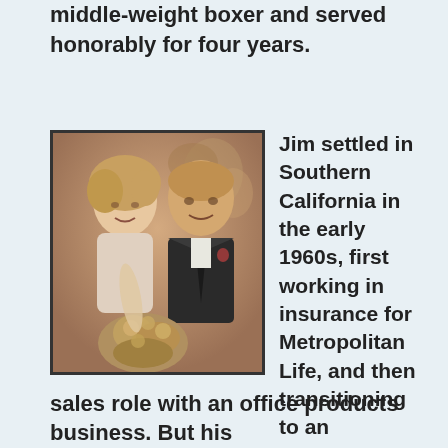middle-weight boxer and served honorably for four years.
[Figure (photo): Vintage sepia-toned photograph of a man and woman, dressed formally, the woman holding a bouquet of flowers, appearing to be from the 1960s era.]
Jim settled in Southern California in the early 1960s, first working in insurance for Metropolitan Life, and then transitioning to an executive sales role with an office products business. But his